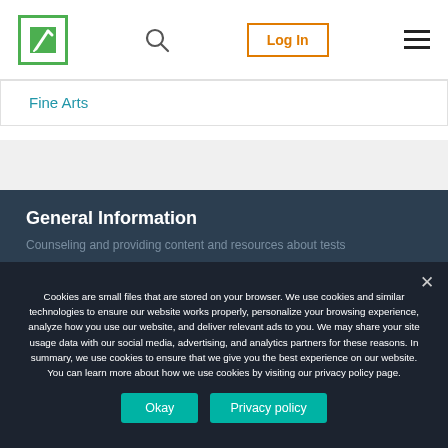Fine Arts | Log In
Fine Arts
General Information
Cookies are small files that are stored on your browser. We use cookies and similar technologies to ensure our website works properly, personalize your browsing experience, analyze how you use our website, and deliver relevant ads to you. We may share your site usage data with our social media, advertising, and analytics partners for these reasons. In summary, we use cookies to ensure that we give you the best experience on our website. You can learn more about how we use cookies by visiting our privacy policy page.
Okay
Privacy policy